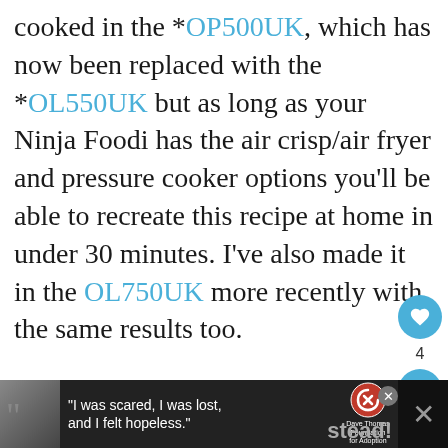cooked in the *OP500UK, which has now been replaced with the *OL550UK but as long as your Ninja Foodi has the air crisp/air fryer and pressure cooker options you'll be able to recreate this recipe at home in under 30 minutes. I've also made it in the OL750UK more recently with the same results too.

If you don't have a Ninja Foodi, or the right model for this particularly recipe, then be sure to check out my air fryer
[Figure (screenshot): Advertisement banner at bottom of page: dark background with photo of woman, quote text 'I was scared, I was lost, and I felt hopeless.' and Dave Thomas Foundation for Adoption logo]